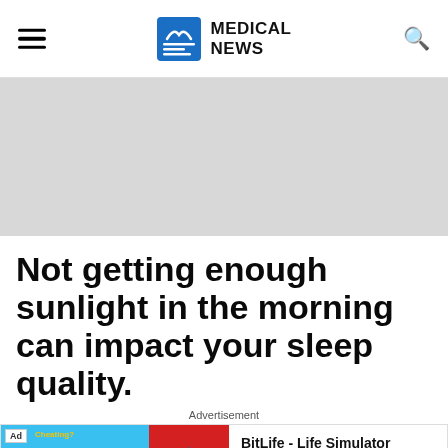MEDICAL NEWS
[Figure (other): Gray placeholder banner for advertisement]
Not getting enough sunlight in the morning can impact your sleep quality.
Advertisement
[Figure (other): BitLife - Life Simulator advertisement banner with Ad tag, muscle emoji graphic on blue background, sperm icon on red background, and Install! button]